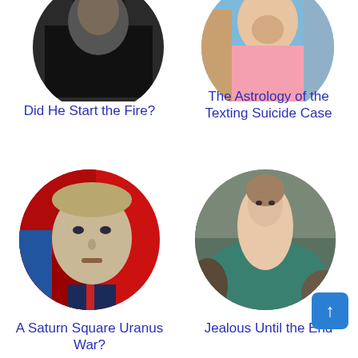[Figure (photo): Circular cropped photo of a man in dark clothing, partially cut off at top]
Did He Start the Fire?
[Figure (photo): Circular cropped photo of a person smiling, partially cut off at top]
The Astrology of the Texting Suicide Case
[Figure (photo): Circular cropped stylized painting/illustration of Vladimir Putin with red flag background]
A Saturn Square Uranus War?
[Figure (photo): Circular cropped classical painting of a semi-nude woman reclining near rocks]
Jealous Until the End
[Figure (photo): Circular cropped photo of a woman with hair, partially cut off at bottom]
[Figure (photo): Circular cropped image with a figure and chair silhouette, partially cut off at bottom]